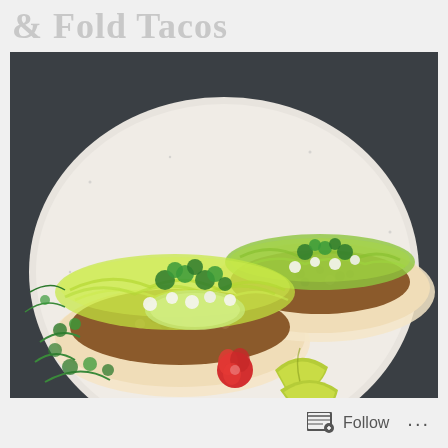& Fold Tacos
[Figure (photo): Overhead photo of two flour tortilla tacos on a white speckled plate, topped with seasoned ground meat, shredded lettuce, diced onion, cilantro, and avocado crema. Garnished with lime wedges and a radish rose. Loose cilantro sprigs surround the plate on a dark slate background.]
Follow ...